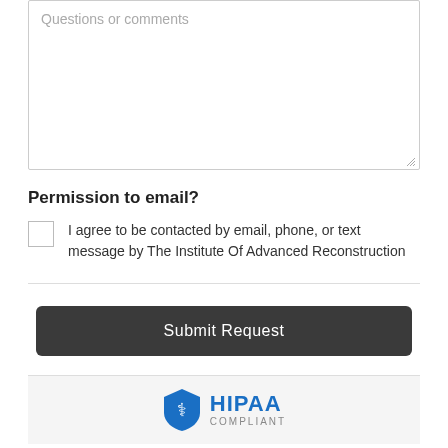Questions or comments
Permission to email?
I agree to be contacted by email, phone, or text message by The Institute Of Advanced Reconstruction
Submit Request
[Figure (logo): HIPAA Compliant shield logo with blue shield and caduceus icon, text HIPAA in blue bold and COMPLIANT in gray below]